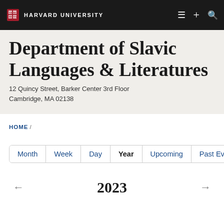HARVARD UNIVERSITY
Department of Slavic Languages & Literatures
12 Quincy Street, Barker Center 3rd Floor
Cambridge, MA 02138
HOME /
Month | Week | Day | Year | Upcoming | Past Events
← 2023 →